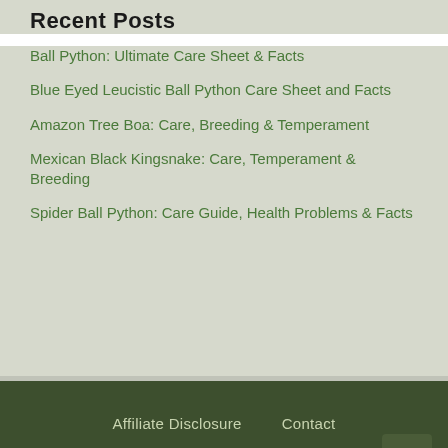Recent Posts
Ball Python: Ultimate Care Sheet & Facts
Blue Eyed Leucistic Ball Python Care Sheet and Facts
Amazon Tree Boa: Care, Breeding & Temperament
Mexican Black Kingsnake: Care, Temperament & Breeding
Spider Ball Python: Care Guide, Health Problems & Facts
Affiliate Disclosure   Contact
© 2022 AZ Reptiles